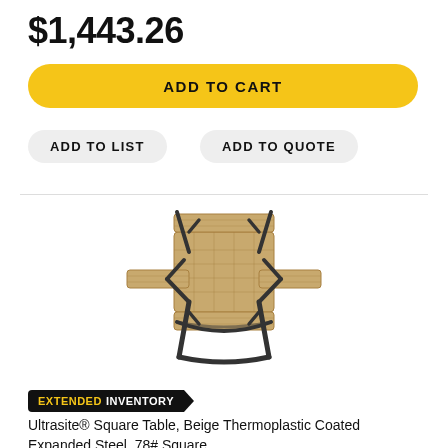$1,443.26
ADD TO CART
ADD TO LIST
ADD TO QUOTE
[Figure (illustration): Square picnic table with beige thermoplastic coated expanded steel top and seats, black metal frame legs]
EXTENDED INVENTORY
Ultrasite® Square Table, Beige Thermoplastic Coated Expanded Steel, 78# Square